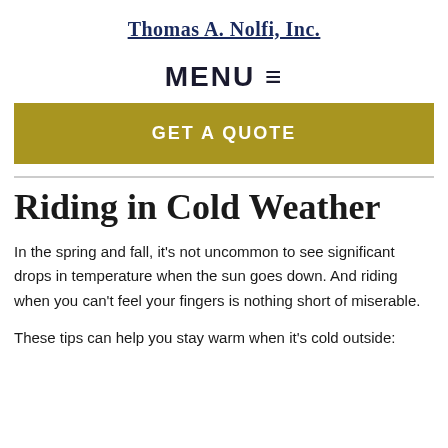Thomas A. Nolfi, Inc.
MENU ≡
GET A QUOTE
Riding in Cold Weather
In the spring and fall, it's not uncommon to see significant drops in temperature when the sun goes down. And riding when you can't feel your fingers is nothing short of miserable.
These tips can help you stay warm when it's cold outside: